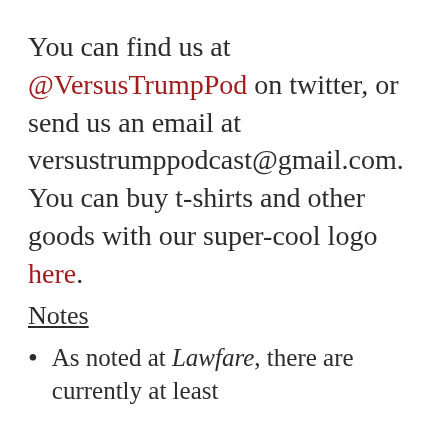You can find us at @VersusTrumpPod on twitter, or send us an email at versustrumppodcast@gmail.com. You can buy t-shirts and other goods with our super-cool logo here.
Notes
As noted at Lawfare, there are currently at least